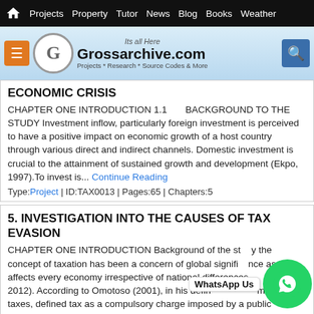Projects | Property | Tutor | News | Blog | Books | Weather
[Figure (logo): Grossarchive.com logo with tagline 'Its all Here' and subtitle 'Projects * Research * Source Codes & More']
ECONOMIC CRISIS
CHAPTER ONE INTRODUCTION 1.1       BACKGROUND TO THE STUDY Investment inflow, particularly foreign investment is perceived to have a positive impact on economic growth of a host country through various direct and indirect channels. Domestic investment is crucial to the attainment of sustained growth and development (Ekpo, 1997).To invest is... Continue Reading
Type: Project | ID:TAX0013 | Pages:65 | Chapters:5
5. INVESTIGATION INTO THE CAUSES OF TAX EVASION
CHAPTER ONE INTRODUCTION Background of the study the concept of taxation has been a concern of global significance as it affects every economy irrespective of national differences (Doh etal., 2012). According to Omotoso (2001), in his definition of the modern taxes, defined tax as a compulsory charge imposed by a public authority on the income of... Continue Reading